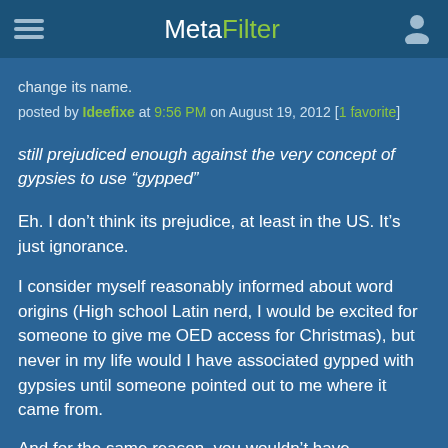MetaFilter
change its name.
posted by Ideefixe at 9:56 PM on August 19, 2012 [1 favorite]
still prejudiced enough against the very concept of gypsies to use “gypped”
Eh. I don’t think its prejudice, at least in the US. It’s just ignorance.
I consider myself reasonably informed about word origins (High school Latin nerd, I would be excited for someone to give me OED access for Christmas), but never in my life would I have associated gypped with gypsies until someone pointed out to me where it came from.
And for the same reason, you wouldn’t have...